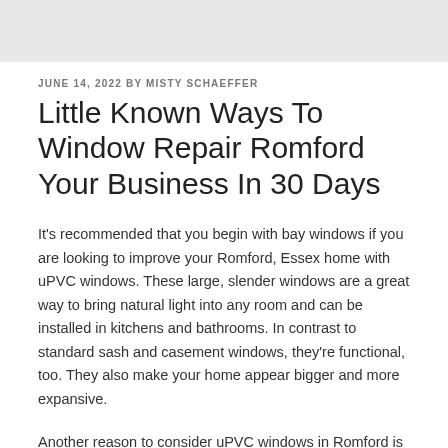JUNE 14, 2022 BY MISTY SCHAEFFER
Little Known Ways To Window Repair Romford Your Business In 30 Days
It's recommended that you begin with bay windows if you are looking to improve your Romford, Essex home with uPVC windows. These large, slender windows are a great way to bring natural light into any room and can be installed in kitchens and bathrooms. In contrast to standard sash and casement windows, they're functional, too. They also make your home appear bigger and more expansive.
Another reason to consider uPVC windows in Romford is